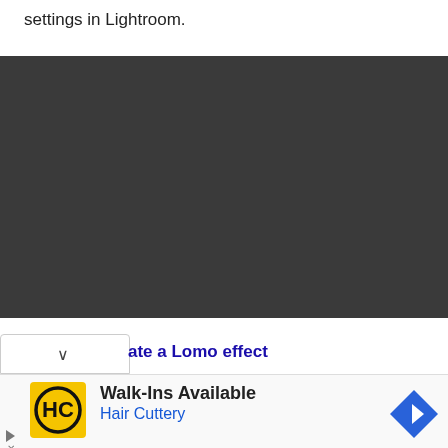settings in Lightroom.
[Figure (screenshot): Dark gray/black rectangular area representing a screenshot or image placeholder in a tutorial about Lightroom settings]
ate a Lomo effect
[Figure (other): Advertisement: Walk-Ins Available - Hair Cuttery, with yellow HC logo and blue diamond arrow icon]